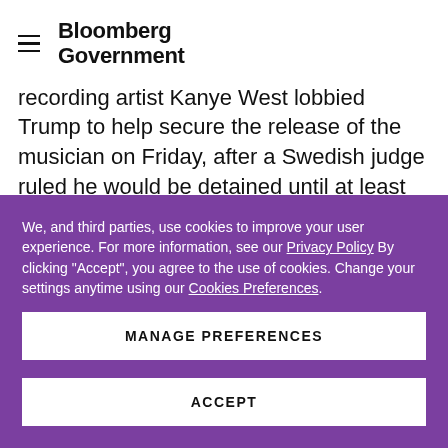Bloomberg Government
recording artist Kanye West lobbied Trump to help secure the release of the musician on Friday, after a Swedish judge ruled he would be detained until at least July 25. Trump said he and Lofven planned to speak
We, and third parties, use cookies to improve your user experience. For more information, see our Privacy Policy By clicking "Accept", you agree to the use of cookies. Change your settings anytime using our Cookies Preferences.
MANAGE PREFERENCES
ACCEPT